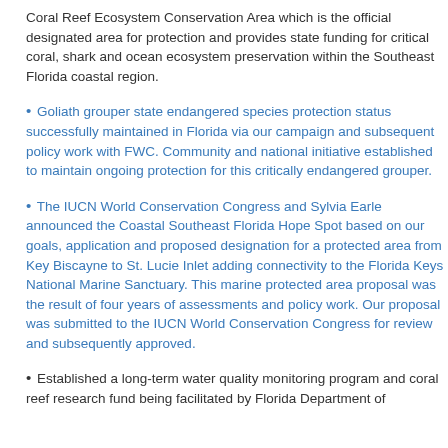Coral Reef Ecosystem Conservation Area which is the official designated area for protection and provides state funding for critical coral, shark and ocean ecosystem preservation within the Southeast Florida coastal region.
Goliath grouper state endangered species protection status successfully maintained in Florida via our campaign and subsequent policy work with FWC. Community and national initiative established to maintain ongoing protection for this critically endangered grouper.
The IUCN World Conservation Congress and Sylvia Earle announced the Coastal Southeast Florida Hope Spot based on our goals, application and proposed designation for a protected area from Key Biscayne to St. Lucie Inlet adding connectivity to the Florida Keys National Marine Sanctuary. This marine protected area proposal was the result of four years of assessments and policy work. Our proposal was submitted to the IUCN World Conservation Congress for review and subsequently approved.
Established a long-term water quality monitoring program and coral reef research fund being facilitated by Florida Department of